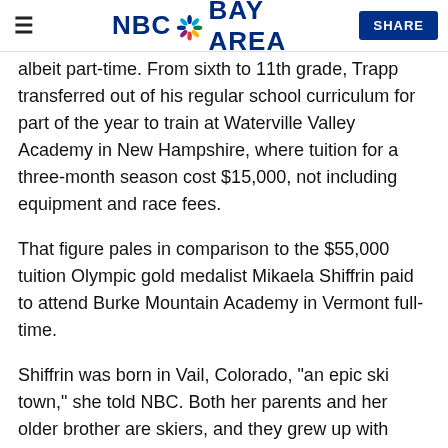NBC Bay Area — SHARE
albeit part-time. From sixth to 11th grade, Trapp transferred out of his regular school curriculum for part of the year to train at Waterville Valley Academy in New Hampshire, where tuition for a three-month season cost $15,000, not including equipment and race fees.
That figure pales in comparison to the $55,000 tuition Olympic gold medalist Mikaela Shiffrin paid to attend Burke Mountain Academy in Vermont full-time.
Shiffrin was born in Vail, Colorado, "an epic ski town," she told NBC. Both her parents and her older brother are skiers, and they grew up with skiing as their "family recreational sport." She recalled starting out in a kids' "Fresh Tracks" training program by age 5.